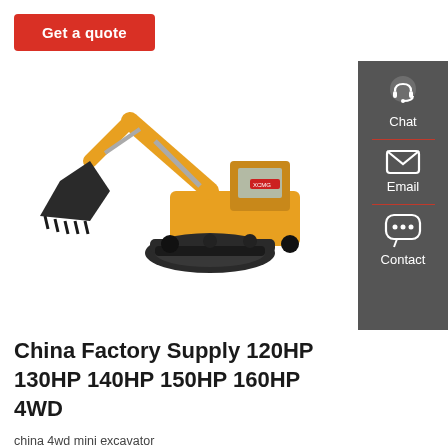Get a quote
[Figure (photo): Yellow XCMG hydraulic excavator with large bucket on white background]
[Figure (infographic): Dark grey sidebar with Chat (headset icon), Email (envelope icon), and Contact (speech bubble icon) buttons separated by red dividers]
China Factory Supply 120HP 130HP 140HP 150HP 160HP 4WD
china 4wd mini excavator